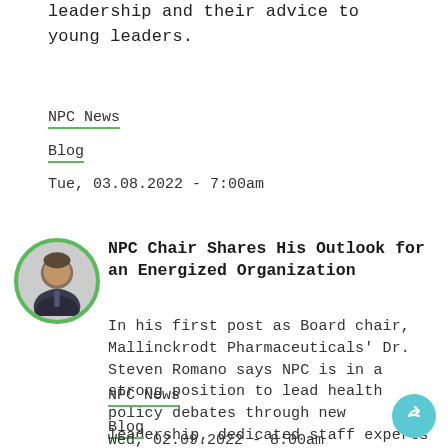leadership and their advice to young leaders.
NPC News
Blog
Tue, 03.08.2022 - 7:00am
[Figure (photo): Circular headshot photo of a man in a suit, bordered with green ring]
NPC Chair Shares His Outlook for an Energized Organization
In his first post as Board chair, Mallinckrodt Pharmaceuticals' Dr. Steven Romano says NPC is in a strong position to lead health policy debates through new leadership, dedicated staff experts and an...
NPC News
Blog
Wed, 02.09.2022 - 8:00am